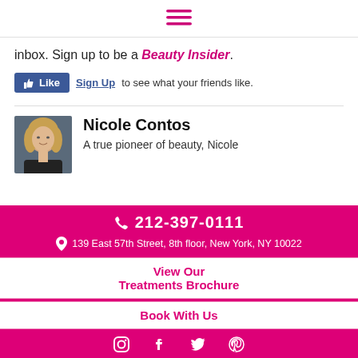[Figure (other): Hamburger menu icon (three horizontal bars) in magenta/pink color centered at top of page]
inbox. Sign up to be a Beauty Insider.
[Figure (screenshot): Facebook Like button widget with thumbs up icon and blue Like button, followed by 'Sign Up to see what your friends like.' text]
[Figure (photo): Author photo of Nicole Contos, a woman with blonde hair wearing a dark top]
Nicole Contos
A true pioneer of beauty, Nicole
212-397-0111
139 East 57th Street, 8th floor, New York, NY 10022
View Our Treatments Brochure
Book With Us
[Figure (other): Social media icons: Instagram, Facebook, Twitter, Pinterest in white on magenta background]